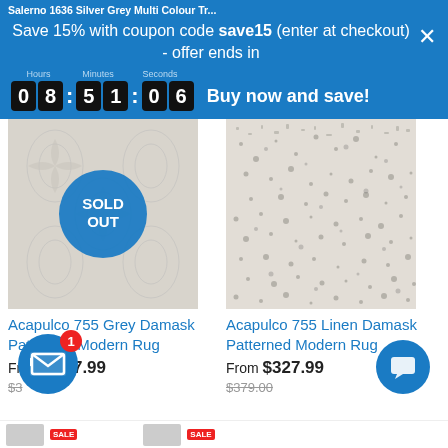Salerno 1636 Silver Grey Multi Colour Tr...
Save 15% with coupon code save15 (enter at checkout) - offer ends in
[Figure (infographic): Countdown timer showing 08:51:06 with Hours, Minutes, Seconds labels and 'Buy now and save!' text]
[Figure (photo): Acapulco 755 Grey Damask Patterned Modern Rug product image with SOLD OUT overlay circle]
[Figure (photo): Acapulco 755 Linen Damask Patterned Modern Rug product image]
Acapulco 755 Grey Damask Patterned Modern Rug
Acapulco 755 Linen Damask Patterned Modern Rug
From $327.99
From $327.99
$379.00